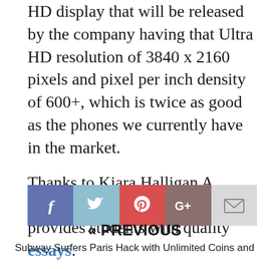HD display that will be released by the company having that Ultra HD resolution of 3840 x 2160 pixels and pixel per inch density of 600+, which is twice as good as the phones we currently have in the market.
Thanks to Kiara Halligan A technology gadget lover that provides students with quality essays.
[Figure (infographic): Social share bar with five buttons: Facebook (blue-purple, f icon), Twitter (light blue, bird icon), Pinterest (red, P icon), Google+ (dark red, G+ icon), Email (light gray, envelope icon)]
« PREVIOUS
Subway Surfers Paris Hack with Unlimited Coins and